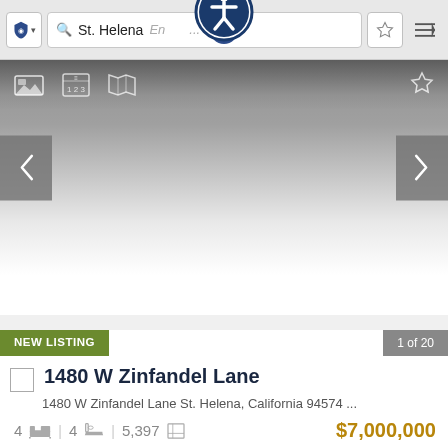[Figure (screenshot): Browser navigation bar with shield icon, search bar showing 'St. Helena', accessibility icon overlay, plus button, star button, and menu button]
[Figure (screenshot): Real estate listing image carousel with toolbar icons (photo, contact, map), star favorite icon, left and right navigation arrows, and gradient fade to white]
NEW LISTING
1 of 20
1480 W Zinfandel Lane
1480 W Zinfandel Lane St. Helena, California 94574 ...
4  4  5,397  $7,000,000